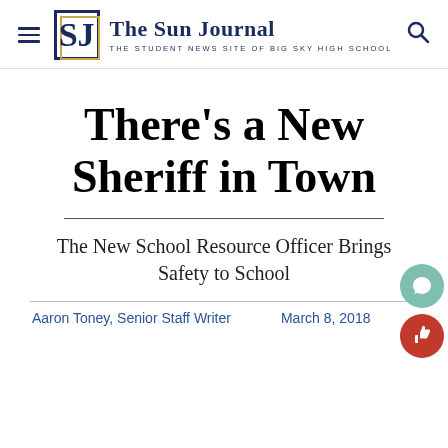SJ The Sun Journal — THE STUDENT NEWS SITE OF BIG SKY HIGH SCHOOL
There's a New Sheriff in Town
The New School Resource Officer Brings Safety to School
Aaron Toney, Senior Staff Writer    March 8, 2018